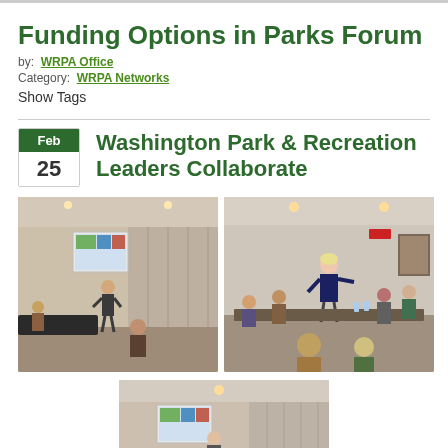Funding Options in Parks Forum
by: WRPA Office
Category: WRPA Networks
Show Tags
Washington Park & Recreation Leaders Collaborate
[Figure (photo): Person presenting at a conference room with a projection screen showing a map]
[Figure (photo): Group of people seated around a table in a meeting room, woman standing and speaking]
[Figure (photo): Another view of the conference room meeting with a projection screen visible]